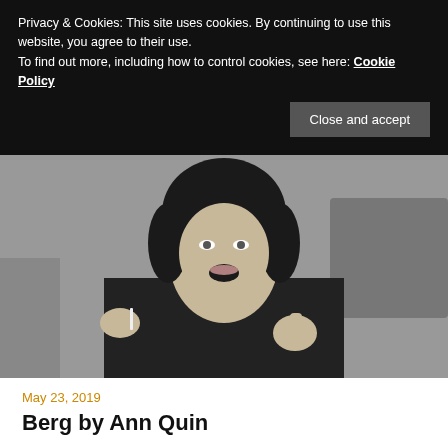Privacy & Cookies: This site uses cookies. By continuing to use this website, you agree to their use.
To find out more, including how to control cookies, see here: Cookie Policy
[Figure (photo): Black and white photo of a person with dark hair wearing a dark jacket, gesturing with hands, mouth open as if speaking]
May 23, 2019
Berg by Ann Quin